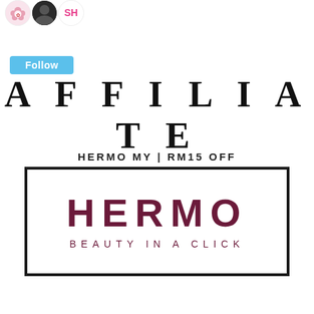[Figure (illustration): Three small avatar icons showing profile pictures: a floral/flower design, a dark silhouette photo, and an 'SH' text logo in pink]
[Figure (illustration): A light blue 'Follow' button]
AFFILIATE
HERMO MY | RM15 OFF
[Figure (logo): HERMO logo with text 'BEAUTY IN A CLICK' inside a thick black border rectangle. The brand name HERMO is in large dark maroon/purple spaced letters, with the tagline below in smaller spaced letters of the same color.]